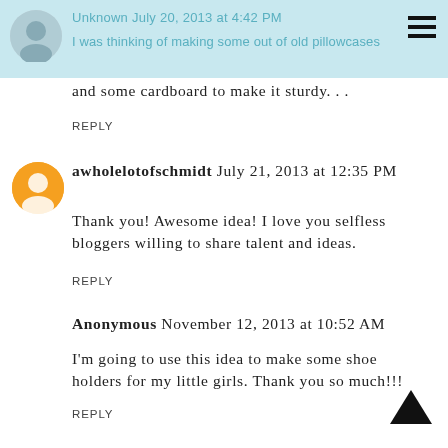Unknown July 20, 2013 at 4:42 PM
I was thinking of making some out of old pillowcases and some cardboard to make it sturdy...
REPLY
awholelotofschmidt July 21, 2013 at 12:35 PM
Thank you! Awesome idea! I love you selfless bloggers willing to share talent and ideas.
REPLY
Anonymous November 12, 2013 at 10:52 AM
I'm going to use this idea to make some shoe holders for my little girls. Thank you so much!!!
REPLY